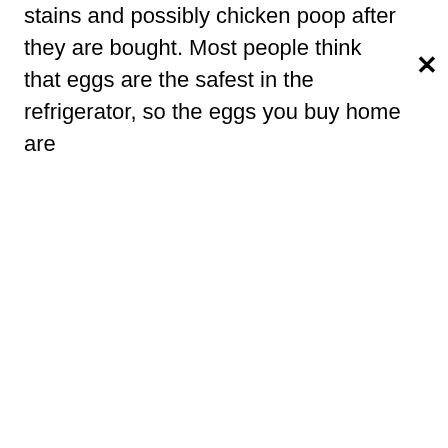stains and possibly chicken poop after they are bought. Most people think that eggs are the safest in the refrigerator, so the eggs you buy home are